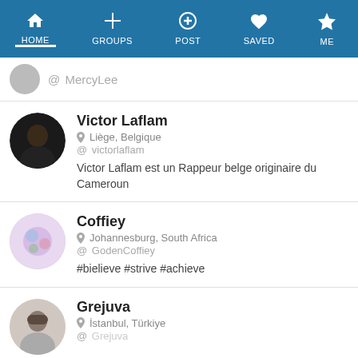HOME | GROUPS | POST | SAVED | ME
@ MercyLee
Victor Laflam
Liège, Belgique
@ victorlaflam
Victor Laflam est un Rappeur belge originaire du Cameroun
Coffiey
Johannesburg, South Africa
@ GodenCoffiey
#bielieve #strive #achieve
Grejuva
İstanbul, Türkiye
@ Grejuva